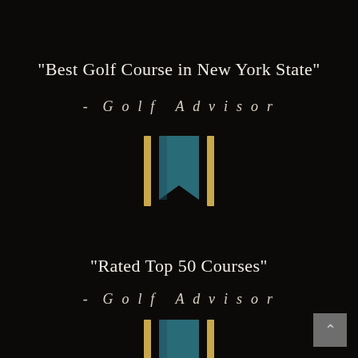"Best Golf Course in New York State"
- Golf Advisor
[Figure (illustration): Two gold vertical bars flanking a teal/dark-cyan bookmark ribbon icon with chevron bottom]
"Rated Top 50 Courses"
- Golf Advisor
[Figure (illustration): Two gold vertical bars flanking a teal/dark-cyan bookmark ribbon icon with chevron bottom (partially visible)]